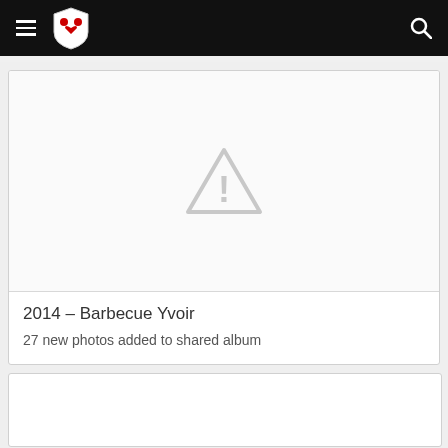Menu | Shield Logo | Search
[Figure (screenshot): Card with broken image placeholder (grey triangle with exclamation mark warning icon) indicating an unavailable image for the 2014 Barbecue Yvoir album]
2014 – Barbecue Yvoir
27 new photos added to shared album